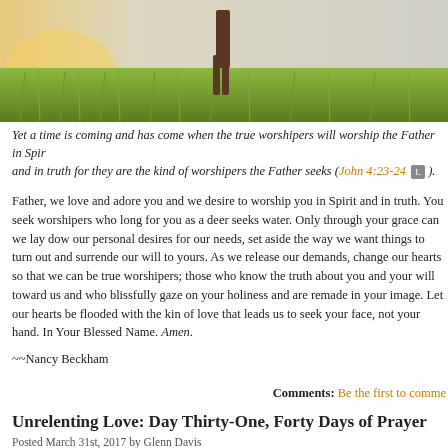[Figure (photo): Person standing in a field of green grass with sunlight, viewed from behind, sky in background]
Yet a time is coming and has come when the true worshipers will worship the Father in Spirit and in truth for they are the kind of worshipers the Father seeks (John 4:23-24 [L] ).
Father, we love and adore you and we desire to worship you in Spirit and in truth. You seek worshipers who long for you as a deer seeks water. Only through your grace can we lay down our personal desires for our needs, set aside the way we want things to turn out and surrender our will to yours. As we release our demands, change our hearts so that we can be true worshipers; those who know the truth about you and your will toward us and who blissfully gaze on your holiness and are remade in your image. Let our hearts be flooded with the kind of love that leads us to seek your face, not your hand. In Your Blessed Name. Amen.
~~Nancy Beckham
Comments: Be the first to comment
Unrelenting Love: Day Thirty-One, Forty Days of Prayer
Posted March 31st, 2017 by Glenn Davis